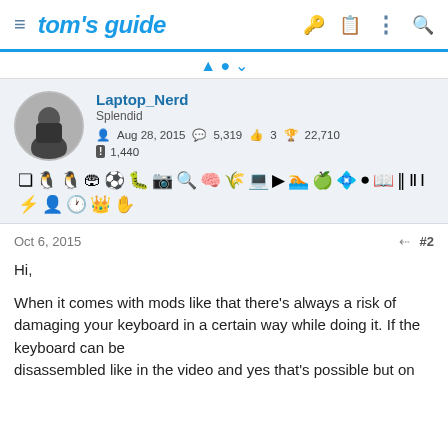tom's guide
Laptop_Nerd
Splendid
Aug 28, 2015   5,319   3   22,710
1,440
Oct 6, 2015   #2
Hi,
When it comes with mods like that there's always a risk of damaging your keyboard in a certain way while doing it. If the keyboard can be disassembled like in the video and yes that's possible but on that